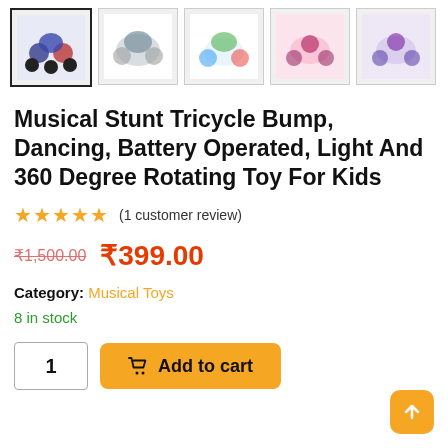[Figure (photo): Row of 5 product thumbnail images showing Musical Stunt Tricycle toy from different angles. First thumbnail is selected/highlighted with a border.]
Musical Stunt Tricycle Bump, Dancing, Battery Operated, Light And 360 Degree Rotating Toy For Kids
★★★★★ (1 customer review)
₹1,500.00 ₹399.00
Category: Musical Toys
8 in stock
1  🛒 Add to cart